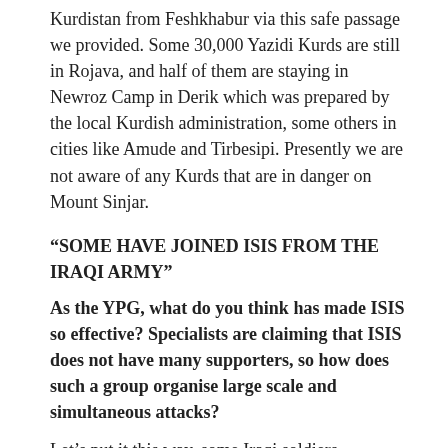Kurdistan from Feshkhabur via this safe passage we provided. Some 30,000 Yazidi Kurds are still in Rojava, and half of them are staying in Newroz Camp in Derik which was prepared by the local Kurdish administration, some others in cities like Amude and Tirbesipi. Presently we are not aware of any Kurds that are in danger on Mount Sinjar.
“SOME HAVE JOINED ISIS FROM THE IRAQI ARMY”
As the YPG, what do you think has made ISIS so effective? Specialists are claiming that ISIS does not have many supporters, so how does such a group organise large scale and simultaneous attacks?
Let’s put it this way, some Iraqi soldiers, especially Sunni ones, all work for ISIS. We want this to be known. The recent attacks on Sinjar was not only by ISIS, but also by Arabs from the villages neighbouring Sinjar. Many Arabs in Sinjar that were claiming to be the “friends of Kurds” are taking part in these attacks. The Arabs in these areas who are supposedly the neighbours and relatives of Kurds, are